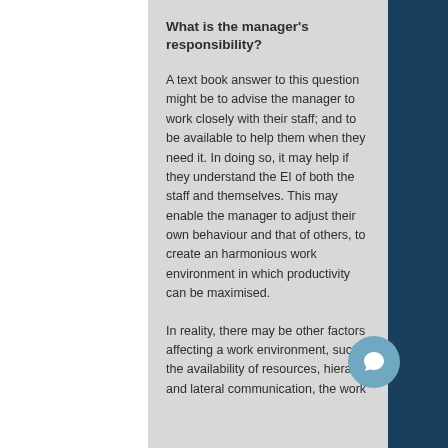What is the manager’s responsibility?
A text book answer to this question might be to advise the manager to work closely with their staff; and to be available to help them when they need it. In doing so, it may help if they understand the EI of both the staff and themselves. This may enable the manager to adjust their own behaviour and that of others, to create an harmonious work environment in which productivity can be maximised.
In reality, there may be other factors affecting a work environment, such as the availability of resources, hierarchical and lateral communication, the work